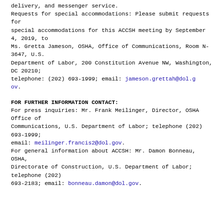delivery, and messenger service.
Requests for special accommodations: Please submit requests for special accommodations for this ACCSH meeting by September 4, 2019, to Ms. Gretta Jameson, OSHA, Office of Communications, Room N-3647, U.S. Department of Labor, 200 Constitution Avenue NW, Washington, DC 20210; telephone: (202) 693-1999; email: jameson.grettah@dol.gov.
FOR FURTHER INFORMATION CONTACT:
For press inquiries: Mr. Frank Meilinger, Director, OSHA Office of Communications, U.S. Department of Labor; telephone (202) 693-1999; email: meilinger.francis2@dol.gov.
For general information about ACCSH: Mr. Damon Bonneau, OSHA, Directorate of Construction, U.S. Department of Labor; telephone (202) 693-2183; email: bonneau.damon@dol.gov.